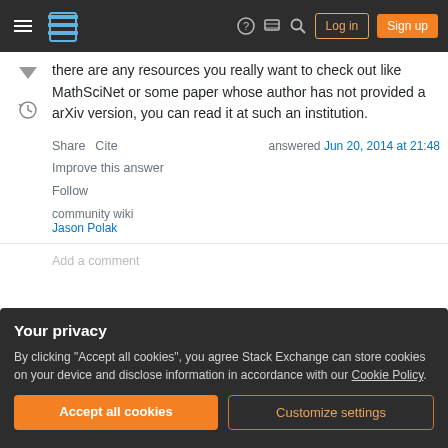Stack Exchange navigation bar with hamburger menu, logo, help, chat, search icons, Log in and Sign up buttons
there are any resources you really want to check out like MathSciNet or some paper whose author has not provided a arXiv version, you can read it at such an institution.
Share   Cite
Improve this answer
Follow
answered Jun 20, 2014 at 21:48
community wiki
Jason Polak
Add a comment
Your privacy
By clicking "Accept all cookies", you agree Stack Exchange can store cookies on your device and disclose information in accordance with our Cookie Policy.
Accept all cookies   Customize settings
Here's a short selection: